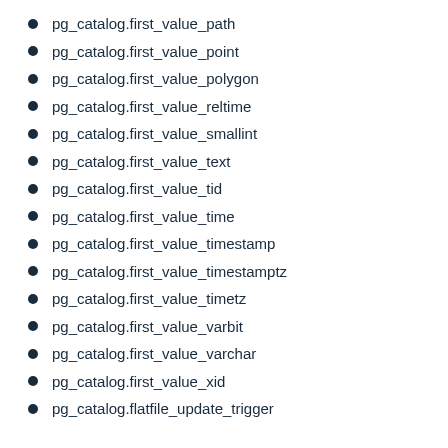pg_catalog.first_value_path
pg_catalog.first_value_point
pg_catalog.first_value_polygon
pg_catalog.first_value_reltime
pg_catalog.first_value_smallint
pg_catalog.first_value_text
pg_catalog.first_value_tid
pg_catalog.first_value_time
pg_catalog.first_value_timestamp
pg_catalog.first_value_timestamptz
pg_catalog.first_value_timetz
pg_catalog.first_value_varbit
pg_catalog.first_value_varchar
pg_catalog.first_value_xid
pg_catalog.flatfile_update_trigger